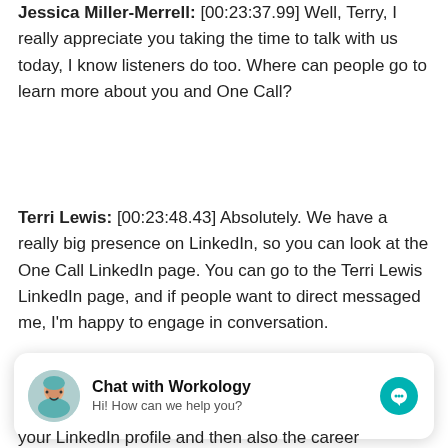Jessica Miller-Merrell: [00:23:37.99] Well, Terry, I really appreciate you taking the time to talk with us today, I know listeners do too. Where can people go to learn more about you and One Call?
Terri Lewis: [00:23:48.43] Absolutely. We have a really big presence on LinkedIn, so you can look at the One Call LinkedIn page. You can go to the Terri Lewis LinkedIn page, and if people want to direct messaged me, I'm happy to engage in conversation.
[Figure (screenshot): Chat widget overlay: 'Chat with Workology' with avatar photo, subtitle 'Hi! How can we help you?' and a teal messenger icon on the right.]
your LinkedIn profile and then also the career